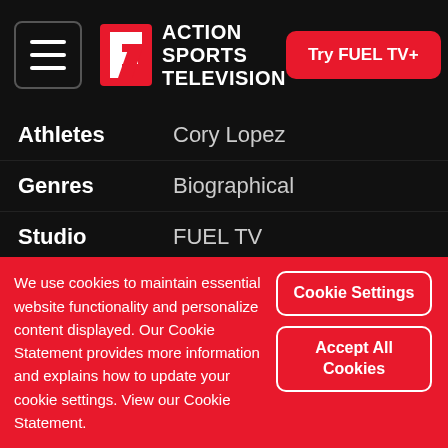ACTION SPORTS TELEVISION | Try FUEL TV+
| Field | Value |
| --- | --- |
| Athletes | Cory Lopez |
| Genres | Biographical |
| Studio | FUEL TV |
| Rating | not rated |
| Runtime | 22 minutes |
| Season | 3 |
We use cookies to maintain essential website functionality and personalize content displayed. Our Cookie Statement provides more information and explains how to update your cookie settings. View our Cookie Statement.